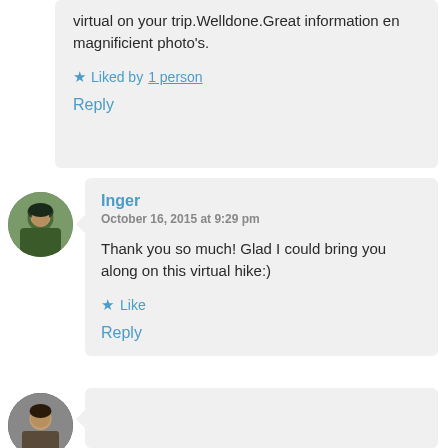virtual on your trip.Welldone.Great information en magnificient photo's.
★ Liked by 1 person
Reply
[Figure (photo): Circular avatar photo of a person wearing a helmet outdoors]
Inger
October 16, 2015 at 9:29 pm
Thank you so much! Glad I could bring you along on this virtual hike:)
★ Like
Reply
[Figure (photo): Circular avatar photo of a person, partially visible at bottom of page]